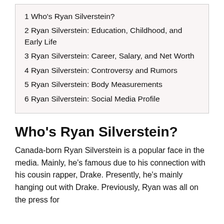1 Who's Ryan Silverstein?
2 Ryan Silverstein: Education, Childhood, and Early Life
3 Ryan Silverstein: Career, Salary, and Net Worth
4 Ryan Silverstein: Controversy and Rumors
5 Ryan Silverstein: Body Measurements
6 Ryan Silverstein: Social Media Profile
Who's Ryan Silverstein?
Canada-born Ryan Silverstein is a popular face in the media. Mainly, he's famous due to his connection with his cousin rapper, Drake. Presently, he's mainly hanging out with Drake. Previously, Ryan was all on the press for